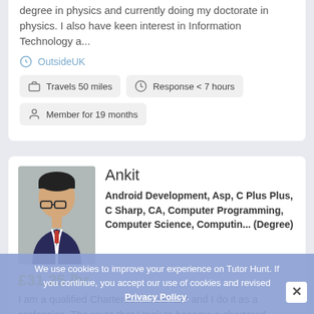degree in physics and currently doing my doctorate in physics. I also have keen interest in Information Technology a...
Outside UK
Travels 50 miles
Response < 7 hours
Member for 19 months
Ankit
Android Development, Asp, C Plus Plus, C Sharp, CA, Computer Programming, Computer Science, Computin... (Degree)
£31.25/hr
I am a qualified Chartered Accountant and I do it as a profession. The route that I took to become a chartered accountant was definitely not easy but on my way in
We use cookies to improve your experience on Tutor Hunt. If you continue, you accept our use of cookies and revised Privacy Policy.